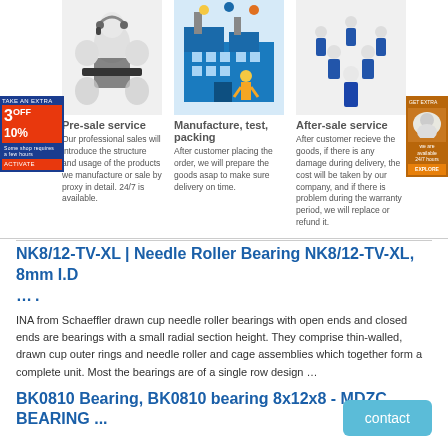[Figure (illustration): Three cartoon figures with headsets working at computers - pre-sale service illustration]
[Figure (illustration): Factory/manufacturing building illustration with worker]
[Figure (illustration): Group of workers in blue uniforms - after-sale service illustration]
Pre-sale service
Our professional sales will introduce the structure and usage of the products we manufacture or sale by proxy in detail. 24/7 is available.
Manufacture, test, packing
After customer placing the order, we will prepare the goods asap to make sure delivery on time.
After-sale service
After customer recieve the goods, if there is any damage during delivery, the cost will be taken by our company, and if there is problem during the warranty period, we will replace or refund it.
NK8/12-TV-XL | Needle Roller Bearing NK8/12-TV-XL, 8mm I.D ....
INA from Schaeffler drawn cup needle roller bearings with open ends and closed ends are bearings with a small radial section height. They comprise thin-walled, drawn cup outer rings and needle roller and cage assemblies which together form a complete unit. Most the bearings are of a single row design ...
BK0810 Bearing, BK0810 bearing 8x12x8 - MDZC BEARING ...